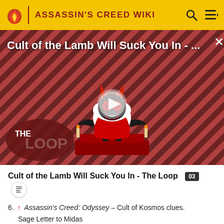ASSASSIN'S CREED WIKI
[Figure (screenshot): Video thumbnail for 'Cult of the Lamb Will Suck You In - The Loop' showing a cartoon lamb character with red eyes on a red striped background with The Loop branding and a play button overlay]
Cult of the Lamb Will Suck You In - The Loop
6. ↑ Assassin's Creed: Odyssey – Cult of Kosmos clues. Sage Letter to Midas